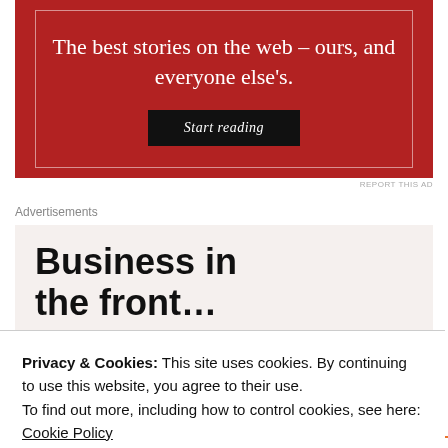[Figure (infographic): Red advertisement banner with serif white text reading 'The best stories on the web – ours, and everyone else's.' and a black 'Start reading' button]
REPORT THIS AD
Advertisements
[Figure (infographic): Beige/cream advertisement banner with large bold sans-serif text reading 'Business in the front...']
Privacy & Cookies: This site uses cookies. By continuing to use this website, you agree to their use.
To find out more, including how to control cookies, see here:
Cookie Policy
Close and accept